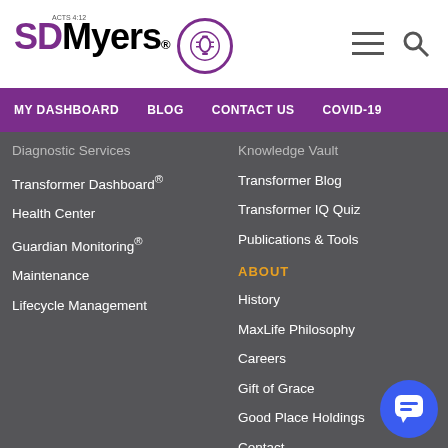[Figure (logo): SDMyers logo with purple circle containing transformer icon and Acts 4:12 text]
MY DASHBOARD   BLOG   CONTACT US   COVID-19
Diagnostic Services
Transformer Dashboard®
Health Center
Guardian Monitoring®
Maintenance
Lifecycle Management
Knowledge Vault
Transformer Blog
Transformer IQ Quiz
Publications & Tools
ABOUT
History
MaxLife Philosophy
Careers
Gift of Grace
Good Place Holdings
Contact
Privacy Policy